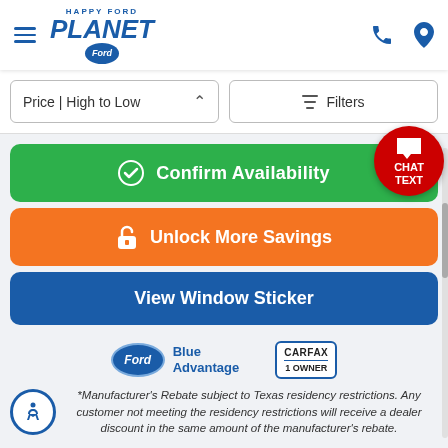[Figure (screenshot): Planet Ford dealership website header with hamburger menu, Planet Ford logo, phone icon, and location pin icon]
Price | High to Low
Filters
✓ Confirm Availability
CHAT TEXT
🔒 Unlock More Savings
View Window Sticker
[Figure (logo): Ford Blue Advantage logo]
[Figure (logo): CARFAX 1 Owner badge]
[Figure (logo): Accessibility icon - circular person with circle head]
*Manufacturer's Rebate subject to Texas residency restrictions. Any customer not meeting the residency restrictions will receive a dealer discount in the same amount of the manufacturer's rebate.